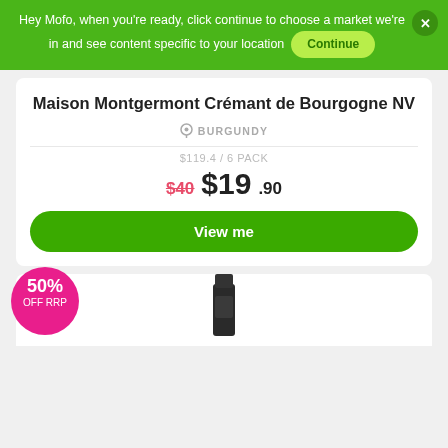Hey Mofo, when you're ready, click continue to choose a market we're in and see content specific to your location
Maison Montgermont Crémant de Bourgogne NV
BURGUNDY
$119.4 / 6 PACK
$40 $19.90
View me
[Figure (other): 50% OFF RRP badge circle in pink/magenta]
[Figure (photo): Bottom of a dark wine/champagne bottle neck]